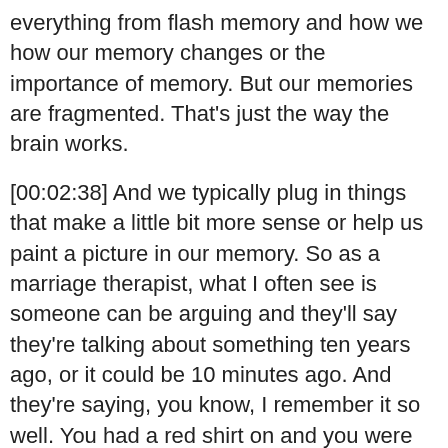everything from flash memory and how we how our memory changes or the importance of memory. But our memories are fragmented. That's just the way the brain works.
[00:02:38] And we typically plug in things that make a little bit more sense or help us paint a picture in our memory. So as a marriage therapist, what I often see is someone can be arguing and they'll say they're talking about something ten years ago, or it could be 10 minutes ago. And they're saying, you know, I remember it so well. You had a red shirt on and you were just laying down on the couch when you were saying these things. And the person I don't even think we had that couch. And, you know, I hate the color red. So I think I was wearing a blue shirt and I was standing in the doorway. And then the people will argue about who was right, red shirt, yellow shirt, couch doorway. And I remember early in my career, I think, man,